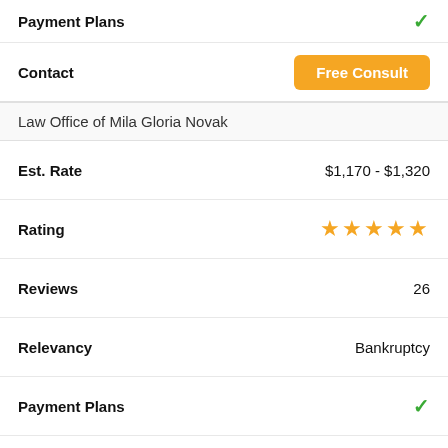Payment Plans ✓
Contact  Free Consult
Law Office of Mila Gloria Novak
Est. Rate  $1,170 - $1,320
Rating  ★★★★★
Reviews  26
Relevancy  Bankruptcy
Payment Plans ✓
Contact  Free Consult
Attorney Joseph P. Doyle